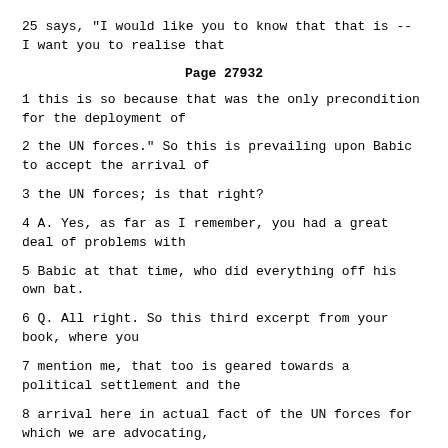25 says, "I would like you to know that that is -- I want you to realise that
Page 27932
1 this is so because that was the only precondition for the deployment of
2 the UN forces." So this is prevailing upon Babic to accept the arrival of
3 the UN forces; is that right?
4 A. Yes, as far as I remember, you had a great deal of problems with
5 Babic at that time, who did everything off his own bat.
6 Q. All right. So this third excerpt from your book, where you
7 mention me, that too is geared towards a political settlement and the
8 arrival here in actual fact of the UN forces for which we are advocating,
9 which Serbia is advocating and which the president of the SFRY advocated